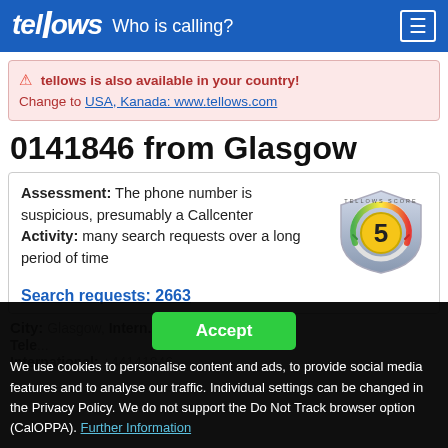tellows Who is calling?
⚠ tellows is also available in your country! Change to USA, Kanada: www.tellows.com
0141846 from Glasgow
Assessment: The phone number is suspicious, presumably a Callcenter Activity: many search requests over a long period of time
[Figure (infographic): Tellows Score badge showing score of 5, shield shape with green/orange/red gradient arc and gold circle with number 5]
Search requests: 2663
Accept
We use cookies to personalise content and ads, to provide social media features and to analyse our traffic. Individual settings can be changed in the Privacy Policy. We do not support the Do Not Track browser option (CalOPPA). Further Information